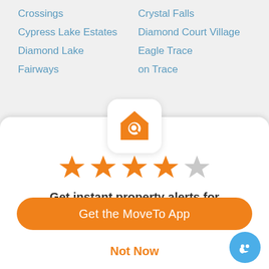Crossings
Crystal Falls
Cypress Lake Estates
Diamond Court Village
Diamond Lake
Eagle Trace
Fairways
on Trace
[Figure (logo): Orange house with magnifying glass icon on white rounded square background]
[Figure (infographic): 4 filled orange stars and 1 gray empty star rating]
Get instant property alerts for www.homesalesverobeach.com
Get the MoveTo App
Not Now
[Figure (illustration): Blue circle chat bubble icon in bottom right]